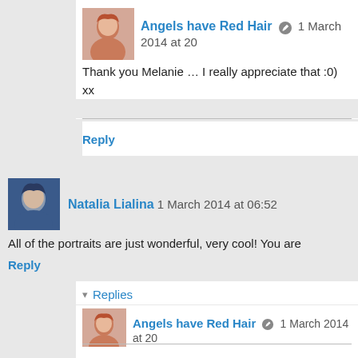Angels have Red Hair  1 March 2014 at 20
Thank you Melanie … I really appreciate that :0)
xx
Reply
Natalia Lialina  1 March 2014 at 06:52
All of the portraits are just wonderful, very cool! You are
Reply
▾ Replies
Angels have Red Hair  1 March 2014 at 20
Thank you … that is very kind of you :0)
xx
Reply